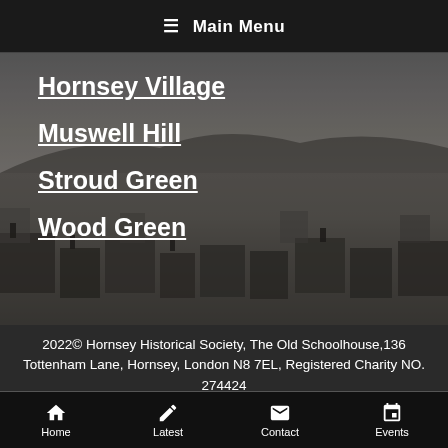☰ Main Menu
Hornsey Village
Muswell Hill
Stroud Green
Wood Green
[Figure (photo): Black and white aerial panorama of Hornsey village rooftops and hillside landscape]
2022© Hornsey Historical Society, The Old Schoolhouse,136 Tottenham Lane, Hornsey, London N8 7EL, Registered Charity NO. 274424
Accessibility Statement
Sitemap
Privacy and Cookie Policy
Home | Latest | Contact | Events